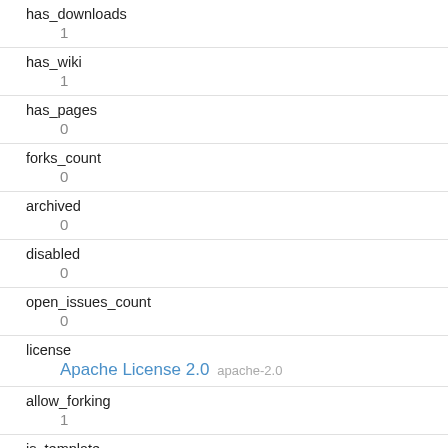| Field | Value |
| --- | --- |
| has_downloads | 1 |
| has_wiki | 1 |
| has_pages | 0 |
| forks_count | 0 |
| archived | 0 |
| disabled | 0 |
| open_issues_count | 0 |
| license | Apache License 2.0  apache-2.0 |
| allow_forking | 1 |
| is_template | 0 |
| topics |  |